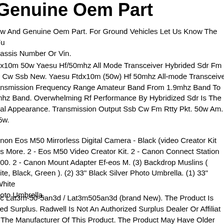Genuine Oem Part
ew And Genuine Oem Part. For Ground Vehicles Let Us Know The Fu hassis Number Or Vin.
dx10m 50w Yaesu Hf/50mhz All Mode Transceiver Hybrided Sdr Fm n Cw Ssb New. Yaesu Ftdx10m (50w) Hf 50mhz All-mode Transceive ansmission Frequency Range Amateur Band From 1.9mhz Band To mhz Band. Overwhelming Rf Performance By Hybridized Sdr Is The eal Appearance. Transmission Output Ssb Cw Fm Rtty Pkt. 50w Am. .5w.
nnon Eos M50 Mirrorless Digital Camera - Black (video Creator Kit us More. 2 - Eos M50 Video Creator Kit. 2 - Canon Connect Station 100. 2 - Canon Mount Adapter Ef-eos M. (3) Backdrop Muslins ( hite, Black, Green ). (2) 33" Black Silver Photo Umbrella. (1) 33" White hoto Umbrella.
nc Lat3m-50-5an3d / Lat3m505an3d (brand New). The Product Is sed Surplus. Radwell Is Not An Authorized Surplus Dealer Or Affiliat r The Manufacturer Of This Product. The Product May Have Older